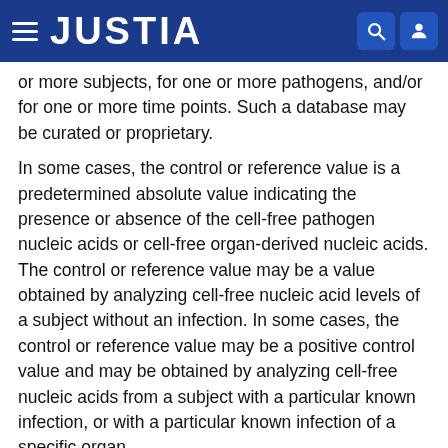JUSTIA
or more subjects, for one or more pathogens, and/or for one or more time points. Such a database may be curated or proprietary.
In some cases, the control or reference value is a predetermined absolute value indicating the presence or absence of the cell-free pathogen nucleic acids or cell-free organ-derived nucleic acids. The control or reference value may be a value obtained by analyzing cell-free nucleic acid levels of a subject without an infection. In some cases, the control or reference value may be a positive control value and may be obtained by analyzing cell-free nucleic acids from a subject with a particular known infection, or with a particular known infection of a specific organ.
In some cases, a control can include identification of a set of commensal microorganisms or natural microflora